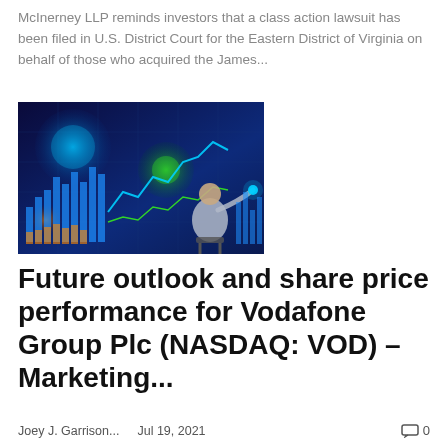McInerney LLP reminds investors that a class action lawsuit has been filed in U.S. District Court for the Eastern District of Virginia on behalf of those who acquired the James...
[Figure (photo): Person sitting at a workstation with glowing financial charts, graphs, and data visualizations displayed on large holographic-style screens in a dark blue environment.]
Future outlook and share price performance for Vodafone Group Plc (NASDAQ: VOD) – Marketing...
Joey J. Garrison...   Jul 19, 2021   0